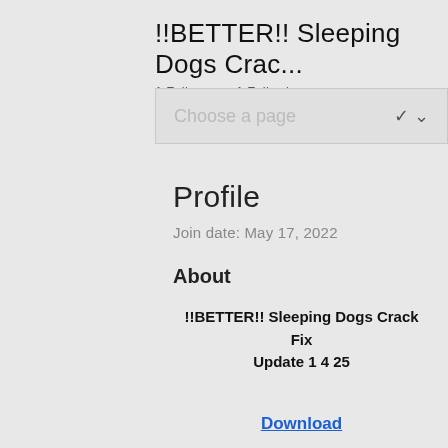!!BETTER!! Sleeping Dogs Crac...
1 Followers • 1 Following
Choose a page
Profile
Join date: May 17, 2022
About
!!BETTER!! Sleeping Dogs Crack Fix Update 1 4 25
Download